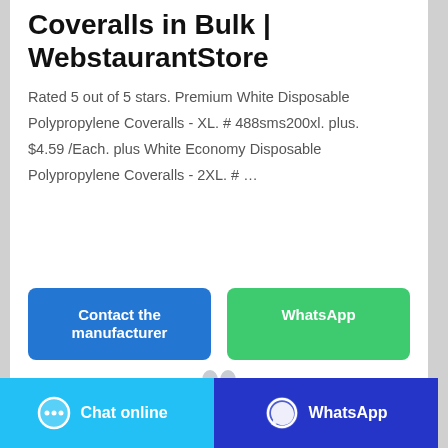Coveralls in Bulk | WebstaurantStore
Rated 5 out of 5 stars. Premium White Disposable Polypropylene Coveralls - XL. # 488sms200xl. plus. $4.59 /Each. plus White Economy Disposable Polypropylene Coveralls - 2XL. # …
[Figure (screenshot): Contact the manufacturer button (blue) and WhatsApp button (green)]
[Figure (illustration): Small coverall product image thumbnail]
[Figure (screenshot): Bottom bar: Chat online button (light blue, left) and WhatsApp button (dark blue, right)]